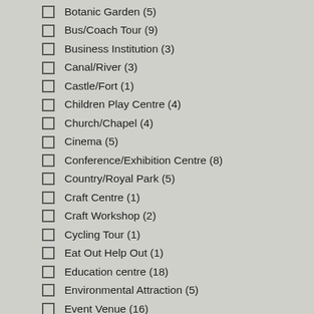Botanic Garden (5)
Bus/Coach Tour (9)
Business Institution (3)
Canal/River (3)
Castle/Fort (1)
Children Play Centre (4)
Church/Chapel (4)
Cinema (5)
Conference/Exhibition Centre (8)
Country/Royal Park (5)
Craft Centre (1)
Craft Workshop (2)
Cycling Tour (1)
Eat Out Help Out (1)
Education centre (18)
Environmental Attraction (5)
Event Venue (16)
Fair / Amusements (4)
Farm (1)